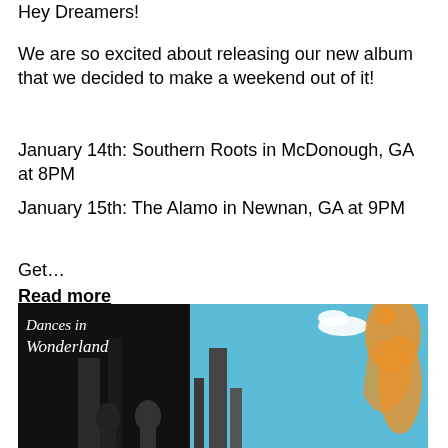Hey Dreamers!
We are so excited about releasing our new album that we decided to make a weekend out of it!
January 14th: Southern Roots in McDonough, GA at 8PM
January 15th: The Alamo in Newnan, GA at 9PM
Get...
Read more
[Figure (illustration): Album cover for 'Dances in Wonderland' showing a vintage-style illustration with a dark left side featuring city buildings and a teal blue sky on the right with clouds and orange figures, cursive white text reads 'Dances in Wonderland']